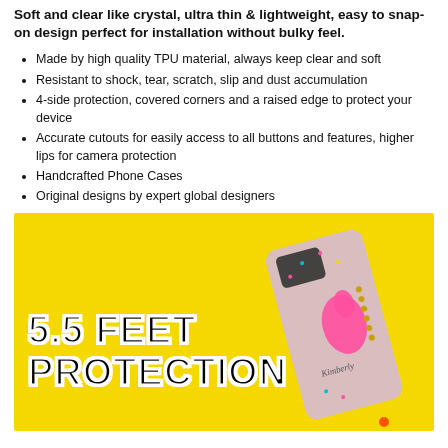Soft and clear like crystal, ultra thin & lightweight, easy to snap-on design perfect for installation without bulky feel.
Made by high quality TPU material, always keep clear and soft
Resistant to shock, tear, scratch, slip and dust accumulation
4-side protection, covered corners and a raised edge to protect your device
Accurate cutouts for easily access to all buttons and features, higher lips for camera protection
Handcrafted Phone Cases
Original designs by expert global designers
[Figure (photo): Yellow background product photo showing a phone case with colorful design. Large bold black text reads '5.5 FEET PROTECTION' with white outline stroke.]